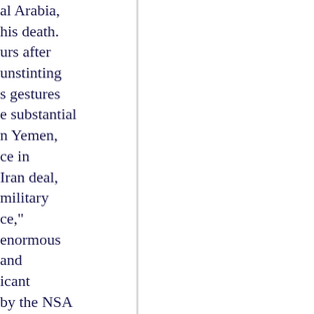al Arabia, his death. urs after unstinting s gestures e substantial n Yemen, ce in Iran deal, military ce," enormous and icant by the NSA identify biquitous, e Saudi along with gime to e of U.S. diplomatic g the use